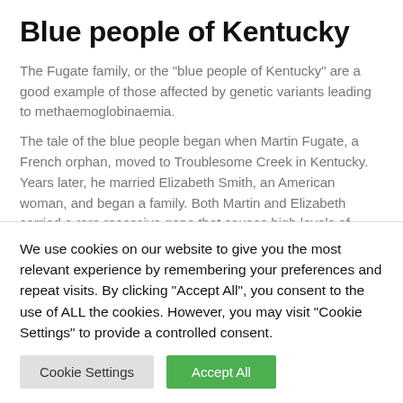Blue people of Kentucky
The Fugate family, or the "blue people of Kentucky" are a good example of those affected by genetic variants leading to methaemoglobinaemia.
The tale of the blue people began when Martin Fugate, a French orphan, moved to Troublesome Creek in Kentucky. Years later, he married Elizabeth Smith, an American woman, and began a family. Both Martin and Elizabeth carried a rare recessive gene that causes high levels of
We use cookies on our website to give you the most relevant experience by remembering your preferences and repeat visits. By clicking "Accept All", you consent to the use of ALL the cookies. However, you may visit "Cookie Settings" to provide a controlled consent.
Cookie Settings | Accept All